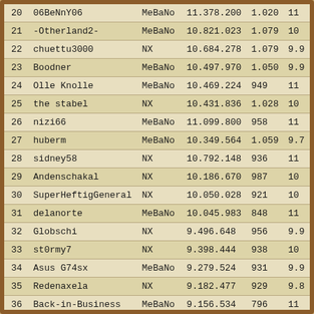| # | Name | Server | Score | Col5 | Col6 |
| --- | --- | --- | --- | --- | --- |
| 20 | 06BeNnY06 | MeBaNo | 11.378.200 | 1.020 | 11 |
| 21 | -Otherland2- | MeBaNo | 10.821.023 | 1.079 | 10 |
| 22 | chuettu3000 | NX | 10.684.278 | 1.079 | 9.9 |
| 23 | Boodner | MeBaNo | 10.497.970 | 1.050 | 9.9 |
| 24 | Olle Knolle | MeBaNo | 10.469.224 | 949 | 11 |
| 25 | the stabel | NX | 10.431.836 | 1.028 | 10 |
| 26 | nizi66 | MeBaNo | 11.099.800 | 958 | 11 |
| 27 | huberm | MeBaNo | 10.349.564 | 1.059 | 9.7 |
| 28 | sidney58 | NX | 10.792.148 | 936 | 11 |
| 29 | Andenschakal | NX | 10.186.670 | 987 | 10 |
| 30 | SuperHeftigGeneral | NX | 10.050.028 | 921 | 10 |
| 31 | delanorte | MeBaNo | 10.045.983 | 848 | 11 |
| 32 | Globschi | NX | 9.496.648 | 956 | 9.9 |
| 33 | st0rmy7 | NX | 9.398.444 | 938 | 10 |
| 34 | Asus G74sx | MeBaNo | 9.279.524 | 931 | 9.9 |
| 35 | Redenaxela | NX | 9.182.477 | 929 | 9.8 |
| 36 | Back-in-Business | MeBaNo | 9.156.534 | 796 | 11 |
| 37 | NoFightNoFight | MeBaNo | 9.126.414 | 917 | 9.9 |
| 38 | Kiwi22 | MeBaNo | 9.044.372 | 927 | 9.7 |
| 39 | King Reiner1 | MeBaNo | 8.963.992 | 855 | 10 |